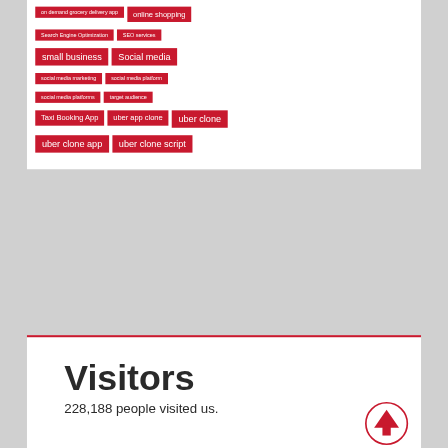on demand grocery delivery app
online shopping
Search Engine Optimization
SEO services
small business
Social media
social media marketing
social media platform
social media platforms
target audience
Taxi Booking App
uber app clone
uber clone
uber clone app
uber clone script
Visitors
228,188 people visited us.